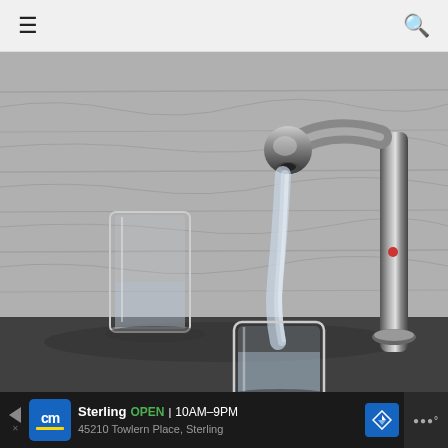Navigation bar with hamburger menu and search icon
[Figure (photo): Black and white photograph of a chrome kitchen faucet running water into a glass placed below, with another glass of water in the background against a wood-patterned tile backsplash]
Sterling  OPEN | 10AM-9PM  45210 Towlern Place, Sterling